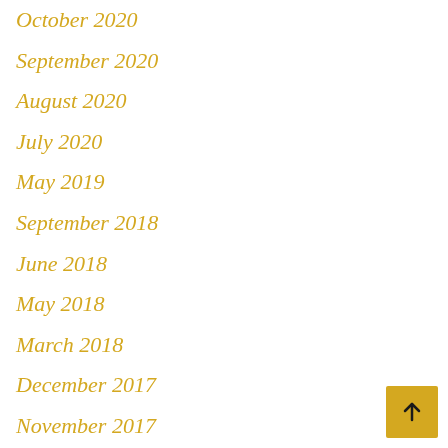October 2020
September 2020
August 2020
July 2020
May 2019
September 2018
June 2018
May 2018
March 2018
December 2017
November 2017
October 2017
September 2017
August 2017